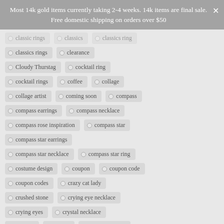Most 14k gold items currently taking 2-4 weeks. 14k items are final sale. Free domestic shipping on orders over $50
classic rings
classics
classics ring
classics rings
clearance
Cloudy Thurstag
cocktail ring
cocktail rings
coffee
collage
collage artist
coming soon
compass
compass earrings
compass necklace
compass rose inspiration
compass star
compass star earrings
compass star necklace
compass star ring
costume design
coupon
coupon code
coupon codes
crazy cat lady
crushed stone
crying eye necklace
crying eyes
crystal necklace
crystals
cuddle
cuddle earrings